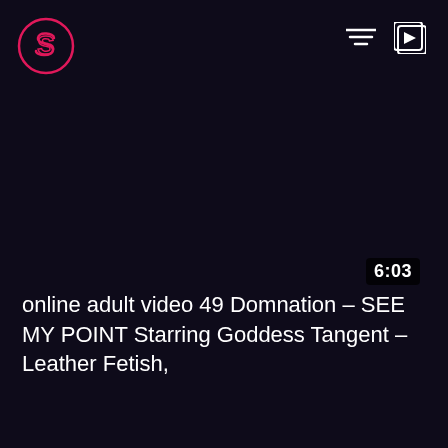[Figure (logo): Pink circular logo with stylized S letter, top-left corner]
[Figure (other): Filter/sort icon (three horizontal lines) in white, top-right area]
[Figure (other): Playlist/queue icon (play button with lines) in white, top-right corner]
6:03
online adult video 49 Domnation – SEE MY POINT Starring Goddess Tangent – Leather Fetish,